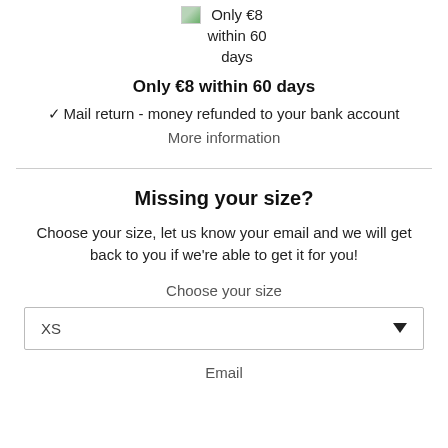[Figure (illustration): Small broken image icon with green landscape thumbnail next to text 'Only €8 within 60 days']
Only €8 within 60 days
✓ Mail return - money refunded to your bank account
More information
Missing your size?
Choose your size, let us know your email and we will get back to you if we're able to get it for you!
Choose your size
XS
Email